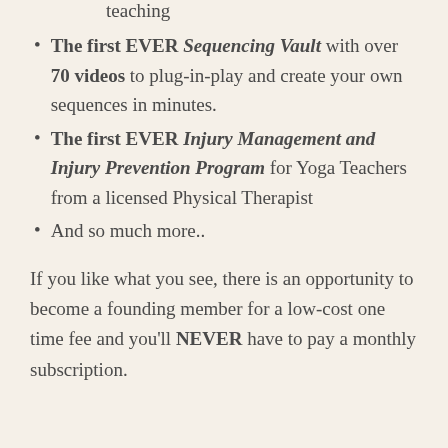modifications, to refine your teaching
The first EVER Sequencing Vault with over 70 videos to plug-in-play and create your own sequences in minutes.
The first EVER Injury Management and Injury Prevention Program for Yoga Teachers from a licensed Physical Therapist
And so much more..
If you like what you see, there is an opportunity to become a founding member for a low-cost one time fee and you'll NEVER have to pay a monthly subscription.